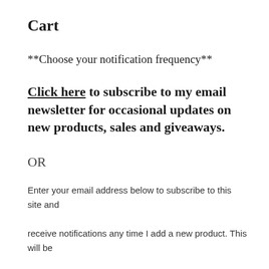Cart
**Choose your notification frequency**
Click here to subscribe to my email newsletter for occasional updates on new products, sales and giveaways.
OR
Enter your email address below to subscribe to this site and receive notifications any time I add a new product. This will be